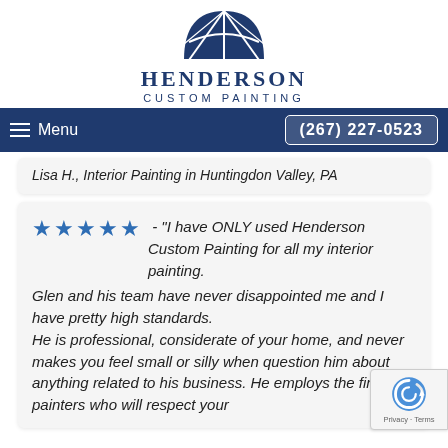[Figure (logo): Henderson Custom Painting logo: dark navy blue semicircular window/fan shape with geometric panes above the text HENDERSON CUSTOM PAINTING]
HENDERSON
CUSTOM PAINTING
Menu  (267) 227-0523
Lisa H., Interior Painting in Huntingdon Valley, PA
★★★★★ - "I have ONLY used Henderson Custom Painting for all my interior painting.
Glen and his team have never disappointed me and I have pretty high standards.
He is professional, considerate of your home, and never makes you feel small or silly when question him about anything related to his business. He employs the finest of painters who will respect your